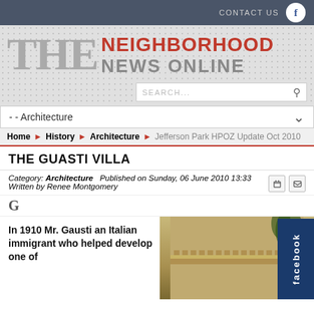CONTACT US
THE NEIGHBORHOOD NEWS ONLINE
- - Architecture
Home > History > Architecture > Jefferson Park HPOZ Update Oct 2010
THE GUASTI VILLA
Category: Architecture    Published on Sunday, 06 June 2010 13:33
Written by Renee Montgomery
In 1910 Mr. Gausti an Italian immigrant who helped develop one of